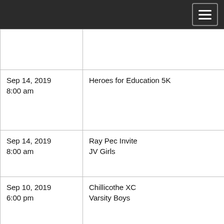|  |  |
| Sep 14, 2019
8:00 am | Heroes for Education 5K |
| Sep 14, 2019
8:00 am | Ray Pec Invite
JV Girls |
| Sep 10, 2019
6:00 pm | Chillicothe XC
Varsity Boys |
| Sep 10, 2019
6:00 pm | Chillicothe XC
Varsity Girls |
|  |  |